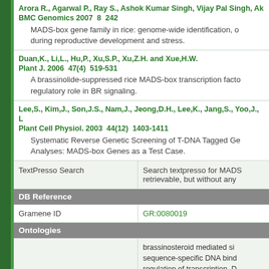Arora R., Agarwal P., Ray S., Ashok Kumar Singh, Vijay Pal Singh, Ak BMC Genomics 2007  8  242
MADS-box gene family in rice: genome-wide identification, o during reproductive development and stress.
Duan,K., Li,L., Hu,P., Xu,S.P., Xu,Z.H. and Xue,H.W.
Plant J. 2006  47(4)  519-531
A brassinolide-suppressed rice MADS-box transcription facto regulatory role in BR signaling.
Lee,S., Kim,J., Son,J.S., Nam,J., Jeong,D.H., Lee,K., Jang,S., Yoo,J., L Plant Cell Physiol. 2003  44(12)  1403-1411
Systematic Reverse Genetic Screening of T-DNA Tagged Ge Analyses: MADS-box Genes as a Test Case.
|  |  |
| --- | --- |
| TextPresso Search | Search textpresso for MADS retrievable, but without any |
| DB Reference |  |
| Gramene ID | GR:0080019 |
| Ontologies |  |
| Gene Ontology | brassinosteroid mediated si sequence-specific DNA bind regulation of transcription, D transcription( GO:0006350 ) nucleus( GO:0005634 ) DNA binding( GO:0003677 transcription factor activity( inflorescence development( |